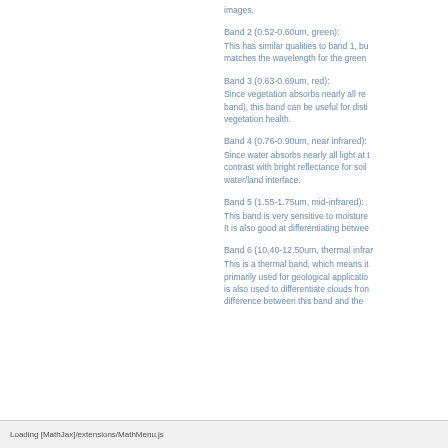images.
Band 2 (0.52-0.60um, green): This has similar qualities to band 1, bu matches the wavelength for the green
Band 3 (0.63-0.69um, red): Since vegetation absorbs nearly all red band), this band can be useful for disti vegetation health.
Band 4 (0.76-0.90um, near infrared): Since water absorbs nearly all light at t contrast with bright reflectance for soil water/land interface.
Band 5 (1.55-1.75um, mid-infrared): This band is very sensitive to moisture It is also good at differentiating betwee
Band 6 (10.40-12.50um, thermal infrar This is a thermal band, which means it primarily used for geological applicatio is also used to differentiate clouds fron difference between this band and the
Loading [MathJax]/extensions/MathMenu.js